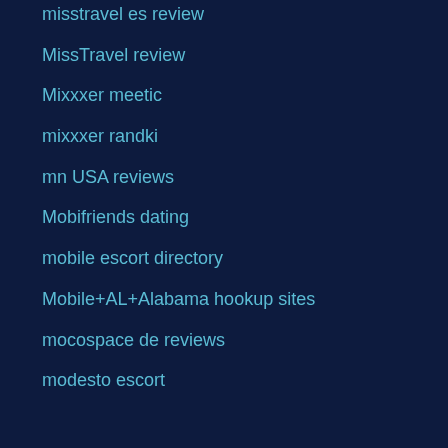misstravel es review
MissTravel review
Mixxxer meetic
mixxxer randki
mn USA reviews
Mobifriends dating
mobile escort directory
Mobile+AL+Alabama hookup sites
mocospace de reviews
modesto escort